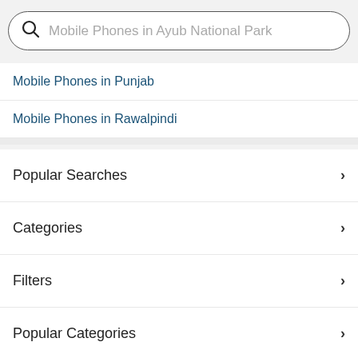Mobile Phones in Ayub National Park
Mobile Phones in Punjab
Mobile Phones in Rawalpindi
Popular Searches
Categories
Filters
Popular Categories
Trending Searches
+ SELL